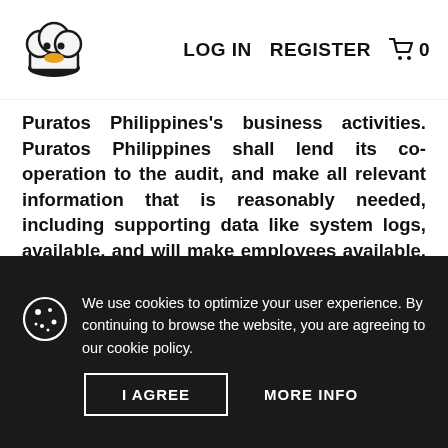LOG IN   REGISTER   🛒 0
Puratos Philippines's business activities. Puratos Philippines shall lend its co-operation to the audit, and make all relevant information that is reasonably needed, including supporting data like system logs, available, and will make employees available, in as far as the direct and/or indirect consequences do not violate the (contractual) rights, duties or statutory requirements of the general services and do not harm Puratos Philippines's interests. Puratos Philippines's assistance will not extend further than a maximum
We use cookies to optimize your user experience. By continuing to browse the website, you are agreeing to our cookie policy.
I AGREE   MORE INFO